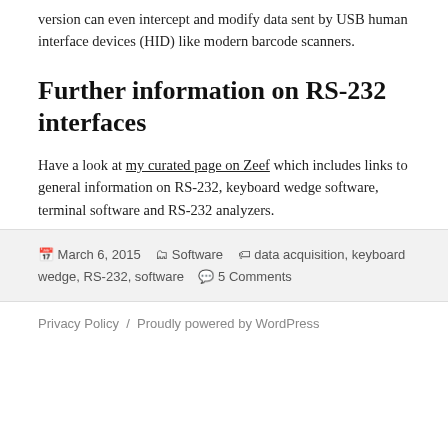version can even intercept and modify data sent by USB human interface devices (HID) like modern barcode scanners.
Further information on RS-232 interfaces
Have a look at my curated page on Zeef which includes links to general information on RS-232, keyboard wedge software, terminal software and RS-232 analyzers.
March 6, 2015  Software  data acquisition, keyboard wedge, RS-232, software  5 Comments
Privacy Policy / Proudly powered by WordPress